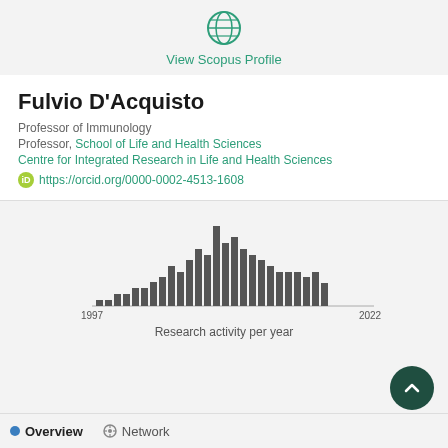[Figure (logo): Globe/grid icon in teal/green color]
View Scopus Profile
Fulvio D'Acquisto
Professor of Immunology
Professor, School of Life and Health Sciences
Centre for Integrated Research in Life and Health Sciences
https://orcid.org/0000-0002-4513-1608
[Figure (bar-chart): Research activity per year]
Research activity per year
Overview   Network